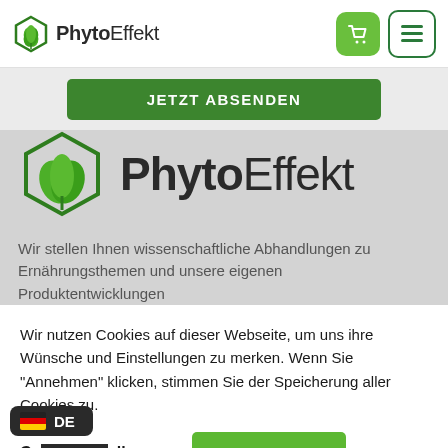PhytoEffekt
[Figure (logo): PhytoEffekt logo with green hexagon leaf icon and bold text]
JETZT ABSENDEN
[Figure (logo): Large PhytoEffekt logo on gray background with hexagon leaf icon]
Wir stellen Ihnen wissenschaftliche Abhandlungen zu Ernährungsthemen und unsere eigenen Produktentwicklungen
Wir nutzen Cookies auf dieser Webseite, um uns ihre Wünsche und Einstellungen zu merken. Wenn Sie "Annehmen" klicken, stimmen Sie der Speicherung aller Cookies zu.
Cookie-Einstellungen
ANNEHMEN
DE